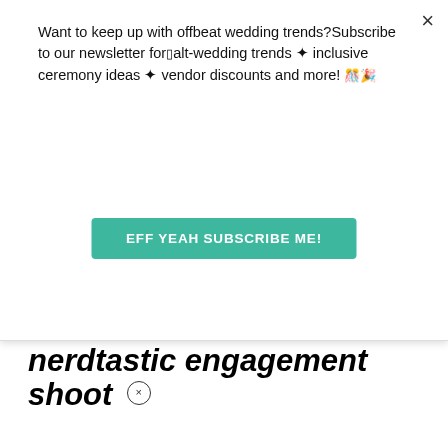Want to keep up with offbeat wedding trends?Subscribe to our newsletter for alt-wedding trends ✦ inclusive ceremony ideas ✦ vendor discounts and more! 🎊🎉🥳
EFF YEAH SUBSCRIBE ME!
nerdtastic engagement shoot
[Figure (screenshot): Video thumbnail with play button icon (cyan/blue triangular play icon on gray background with black borders)]
KT says Nov. 11, 201…
How fun!
[Figure (infographic): Advertisement: Pop in & Shop New Arrivals - World Market, with play icon, brand logo, and blue diamond navigation icon]